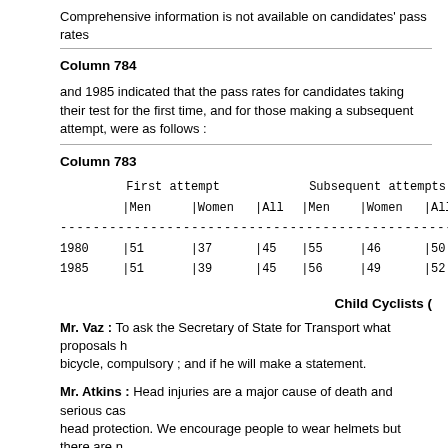Comprehensive information is not available on candidates' pass rates
Column 784
and 1985 indicated that the pass rates for candidates taking their test for the first time, and for those making a subsequent attempt, were as follows :
Column 783
|  | First attempt |  |  | Subsequent attempts |  |  |
| --- | --- | --- | --- | --- | --- | --- |
|  | |Men | |Women | |All | |Men | |Women | |All |
| 1980 | |51 | |37 | |45 | |55 | |46 | |50 |
| 1985 | |51 | |39 | |45 | |56 | |49 | |52 |
Child Cyclists (
Mr. Vaz : To ask the Secretary of State for Transport what proposals he has to make the wearing of helmets, when riding a bicycle, compulsory ; and if he will make a statement.
Mr. Atkins : Head injuries are a major cause of death and serious casualties among child cyclists and helmets do provide head protection. We encourage people to wear helmets but there are no
Preventable